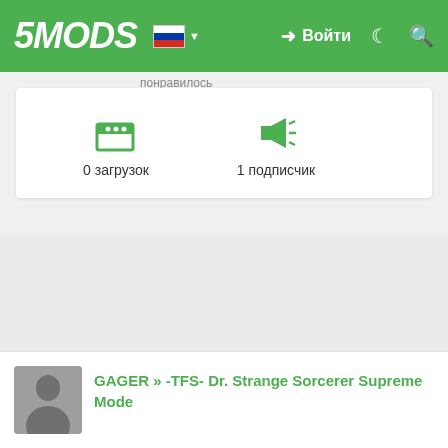5MODS — Войти
понравилось
[Figure (screenshot): Icon: download/upload box with dots]
0 загрузок
[Figure (screenshot): Icon: megaphone/announcement]
1 подписчик
GAGER » -TFS- Dr. Strange Sorcerer Supreme Mode